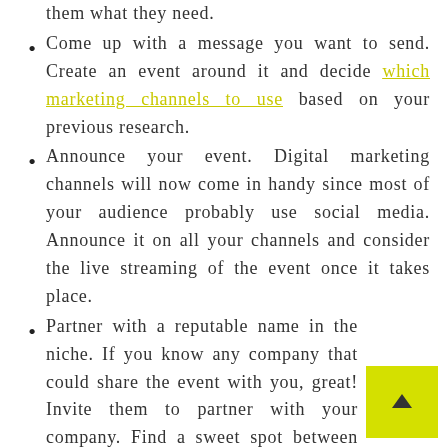them what they need.
Come up with a message you want to send. Create an event around it and decide which marketing channels to use based on your previous research.
Announce your event. Digital marketing channels will now come in handy since most of your audience probably use social media. Announce it on all your channels and consider the live streaming of the event once it takes place.
Partner with a reputable name in the niche. If you know any company that could share the event with you, great! Invite them to partner with your company. Find a sweet spot between your services and the services from the...